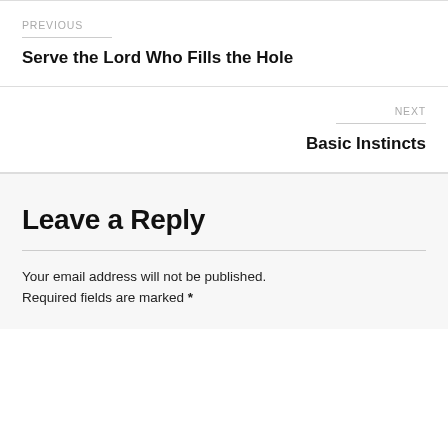PREVIOUS
Serve the Lord Who Fills the Hole
NEXT
Basic Instincts
Leave a Reply
Your email address will not be published. Required fields are marked *